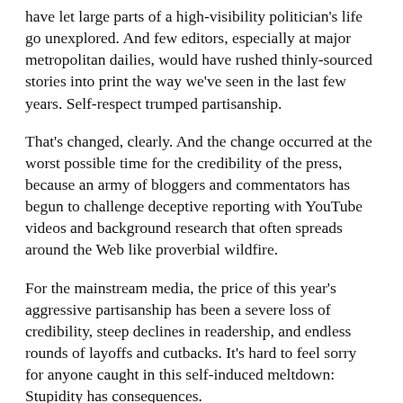have let large parts of a high-visibility politician's life go unexplored. And few editors, especially at major metropolitan dailies, would have rushed thinly-sourced stories into print the way we've seen in the last few years. Self-respect trumped partisanship.
That's changed, clearly. And the change occurred at the worst possible time for the credibility of the press, because an army of bloggers and commentators has begun to challenge deceptive reporting with YouTube videos and background research that often spreads around the Web like proverbial wildfire.
For the mainstream media, the price of this year's aggressive partisanship has been a severe loss of credibility, steep declines in readership, and endless rounds of layoffs and cutbacks. It's hard to feel sorry for anyone caught in this self-induced meltdown: Stupidity has consequences.
But I'm less happy about the loss to our national dialog. The media played a useful role in defining what's important, and in